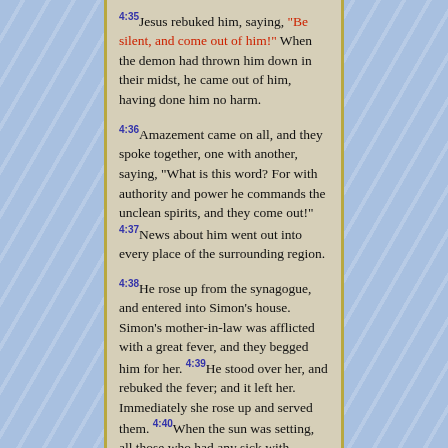4:35 Jesus rebuked him, saying, "Be silent, and come out of him!" When the demon had thrown him down in their midst, he came out of him, having done him no harm.
4:36 Amazement came on all, and they spoke together, one with another, saying, "What is this word? For with authority and power he commands the unclean spirits, and they come out!" 4:37 News about him went out into every place of the surrounding region.
4:38 He rose up from the synagogue, and entered into Simon's house. Simon's mother-in-law was afflicted with a great fever, and they begged him for her. 4:39 He stood over her, and rebuked the fever; and it left her. Immediately she rose up and served them. 4:40 When the sun was setting, all those who had any sick with